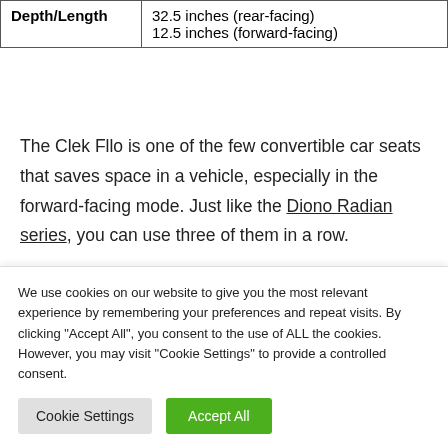| Depth/Length | 32.5 inches (rear-facing)
12.5 inches (forward-facing) |
The Clek Fllo is one of the few convertible car seats that saves space in a vehicle, especially in the forward-facing mode. Just like the Diono Radian series, you can use three of them in a row.
Good Two-Way Car Seats
We use cookies on our website to give you the most relevant experience by remembering your preferences and repeat visits. By clicking "Accept All", you consent to the use of ALL the cookies. However, you may visit "Cookie Settings" to provide a controlled consent.